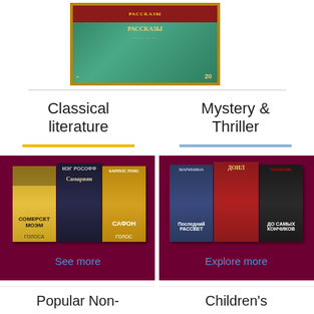[Figure (photo): Book cover with green and gold border showing Cyrillic text, Russian book cover]
Classical literature
Mystery & Thriller
[Figure (photo): Three book covers for Classical literature category - Maugham and other Russian editions]
[Figure (photo): Three book covers for Mystery & Thriller category - Russian detective novels]
See more
Explore more
Popular Non-
Children's